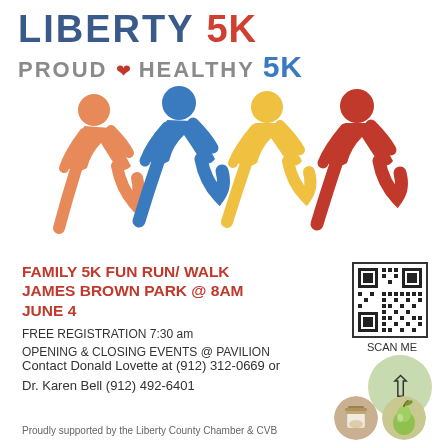LIBERTY 5K PROUD & HEALTHY 5K
[Figure (illustration): Four colorful running figures (orange, blue, yellow, red) in motion representing a 5K race]
FAMILY 5K FUN RUN/ WALK JAMES BROWN PARK @ 8AM JUNE 4
[Figure (other): QR code with SCAN ME label underneath]
FREE REGISTRATION 7:30 am
OPENING & CLOSING EVENTS @ PAVILION
Contact Donald Lovette at (912) 312-0669 or Dr. Karen Bell (912) 492-6401
[Figure (illustration): Green circle with upward arrow]
Proudly supported by the Liberty County Chamber & CVB
[Figure (illustration): Two circular icons: mason jar and pear on burlap texture]